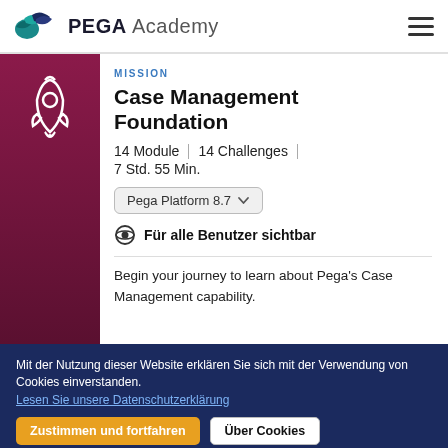PEGA Academy
[Figure (logo): PEGA Academy logo with stylized bird/wave icon in teal and dark blue]
MISSION
Case Management Foundation
14 Module | 14 Challenges | 7 Std. 55 Min.
Pega Platform 8.7
Für alle Benutzer sichtbar
Begin your journey to learn about Pega's Case Management capability.
Mit der Nutzung dieser Website erklären Sie sich mit der Verwendung von Cookies einverstanden. Lesen Sie unsere Datenschutzerklärung
Zustimmen und fortfahren
Über Cookies